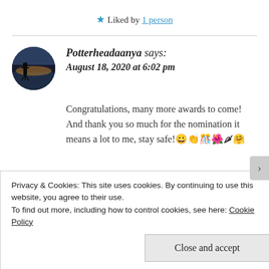★ Liked by 1 person
Potterheadaanya says: August 18, 2020 at 6:02 pm
Congratulations, many more awards to come! And thank you so much for the nomination it means a lot to me, stay safe! 😀👏🎊🌺🌶🤗
Privacy & Cookies: This site uses cookies. By continuing to use this website, you agree to their use.
To find out more, including how to control cookies, see here: Cookie Policy
Close and accept